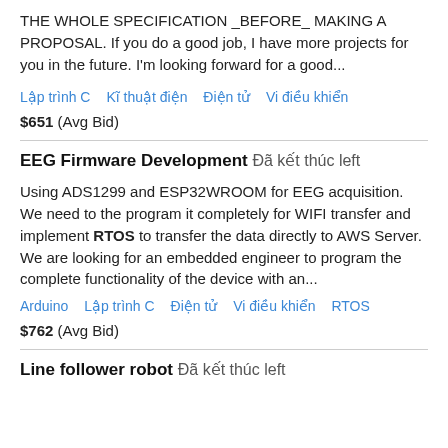THE WHOLE SPECIFICATION _BEFORE_ MAKING A PROPOSAL. If you do a good job, I have more projects for you in the future. I'm looking forward for a good...
Lập trình C   Kĩ thuật điện   Điện tử   Vi điều khiển
$651  (Avg Bid)
EEG Firmware Development  Đã kết thúc left
Using ADS1299 and ESP32WROOM for EEG acquisition. We need to the program it completely for WIFI transfer and implement RTOS to transfer the data directly to AWS Server. We are looking for an embedded engineer to program the complete functionality of the device with an...
Arduino   Lập trình C   Điện tử   Vi điều khiển   RTOS
$762  (Avg Bid)
Line follower robot  Đã kết thúc left